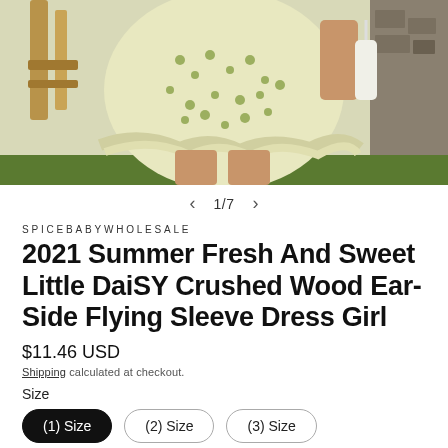[Figure (photo): Close-up photo of a girl wearing a light yellow/green floral ditsy print mini skirt/dress with ruffled hem, standing outdoors near wooden furniture]
1/7
SPICEBABYWHOLESALE
2021 Summer Fresh And Sweet Little DaiSY Crushed Wood Ear-Side Flying Sleeve Dress Girl
$11.46 USD
Shipping calculated at checkout.
Size
(1) Size
(2) Size
(3) Size